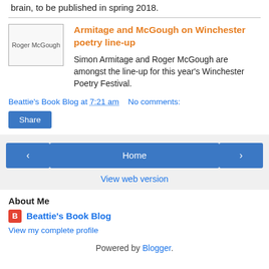brain, to be published in spring 2018.
[Figure (photo): Roger McGough photo placeholder]
Armitage and McGough on Winchester poetry line-up
Simon Armitage and Roger McGough are amongst the line-up for this year's Winchester Poetry Festival.
Beattie's Book Blog at 7:21 am   No comments:
Share
Home
View web version
About Me
Beattie's Book Blog
View my complete profile
Powered by Blogger.